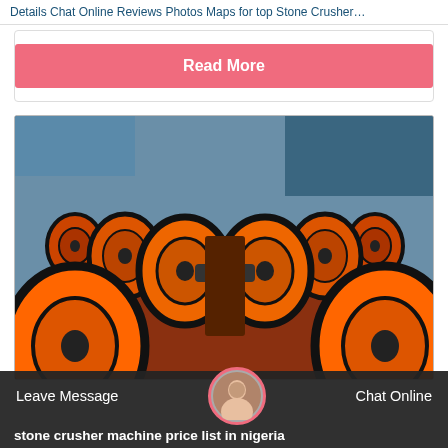Details Chat Online Reviews Photos Maps for top Stone Crusher…
Read More
[Figure (photo): Industrial stone crusher machine components — rows of large orange and black flywheel/pulley assemblies lined up in a factory or outdoor yard, viewed from a low angle perspective showing receding rows on both left and right sides.]
Leave Message
Chat Online
stone crusher machine price list in nigeria